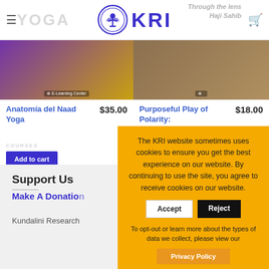KRI - Kundalini Research Institute
Anatomía del Naad Yoga $35.00 COURSES Add to cart
Purposeful Play of Polarity: $18.00
The KRI website sometimes uses cookies to ensure you get the best experience on our website. By continuing to use the site, you agree to receive cookies on our website.
Accept | Reject
To opt-out or learn more about the types of data we collect, please view our
Privacy Policy
Support Us
Make A Donation
Kundalini Research